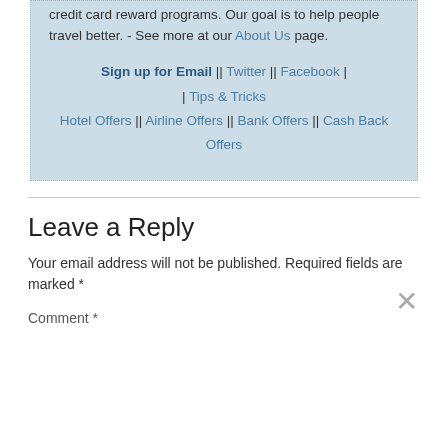credit card reward programs. Our goal is to help people travel better. - See more at our About Us page.
Sign up for Email || Twitter || Facebook | | Tips & Tricks Hotel Offers || Airline Offers || Bank Offers || Cash Back Offers
Leave a Reply
Your email address will not be published. Required fields are marked *
Comment *